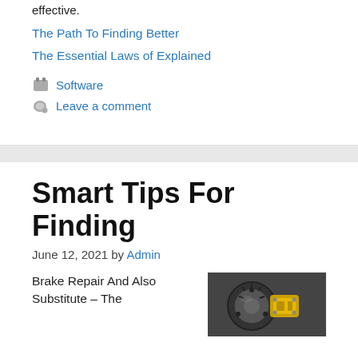effective.
The Path To Finding Better
The Essential Laws of Explained
Software
Leave a comment
Smart Tips For Finding
June 12, 2021 by Admin
Brake Repair And Also Substitute – The
[Figure (photo): Close-up photo of mechanical brake or engine components with yellow and metallic parts visible]